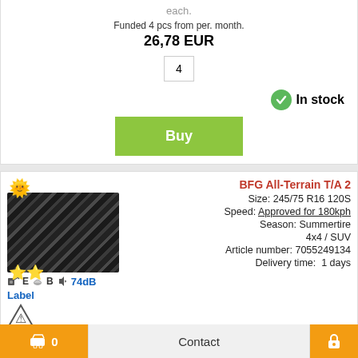each.
Funded 4 pcs from per. month.
26,78 EUR
4
In stock
Buy
BFG All-Terrain T/A 2
Size: 245/75 R16 120S
Speed: Approved for 180kph
Season: Summertire
4x4 / SUV
Article number: 7055249134
Delivery time: 1 days
E  B  74dB
Label
257,02 EUR
each.
0
Contact